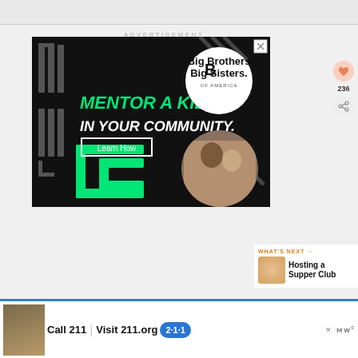[Figure (screenshot): Top strip – partial image from article above fold]
ADVERTISEMENT
[Figure (illustration): Big Brothers Big Sisters of America advertisement banner. Dark background with green graphic elements. Text reads: MENTOR A KID IN YOUR COMMUNITY. Button: Learn How. Photo of adult man and child working together on a project. Big Brothers Big Sisters of America logo in white circle top right. Close X button top right corner.]
236
[Figure (infographic): WHAT'S NEXT arrow label in orange. Hosting a Supper Club. Thumbnail of food/table setting.]
[Figure (screenshot): Bottom banner ad: photo of person, Call 211 | Visit 211.org badge, 2-1-1 logo. Close button. Merriam-Webster logo. United Way 211 service advertisement.]